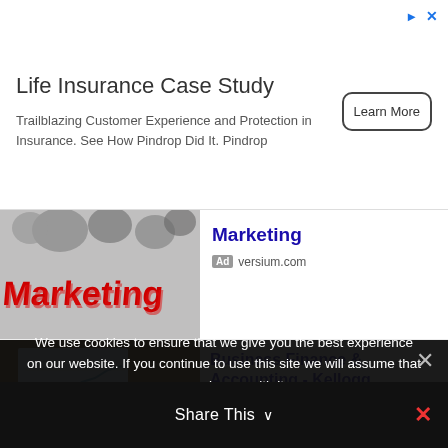[Figure (infographic): Top advertisement banner for Life Insurance Case Study by Pindrop with a Learn More button]
Life Insurance Case Study
Trailblazing Customer Experience and Protection in Insurance. See How Pindrop Did It. Pindrop
[Figure (photo): Marketing text in 3D red letters with gears in the background. Advertisement for versium.com.]
Marketing
Ad versium.com
[Figure (photo): A presenter standing in front of a projected line chart, with an audience seated in front.]
Business Finance & Accounting - Kellogg Executive Education
Ad kellogg.northwestern.edu
Mitigate Your Risk
We use cookies to ensure that we give you the best experience on our website. If you continue to use this site we will assume that you are happy with it.
Share This